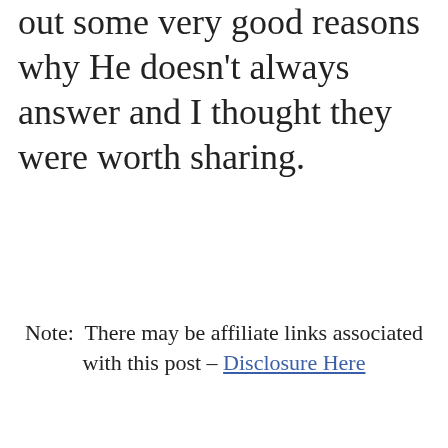out some very good reasons why He doesn't always answer and I thought they were worth sharing.
Note:  There may be affiliate links associated with this post – Disclosure Here
[Figure (illustration): Blog post image with cursive text 'Why Won't God Answer My Prayers?' over a light beige background, with a photo of a woman with brown hair praying below]